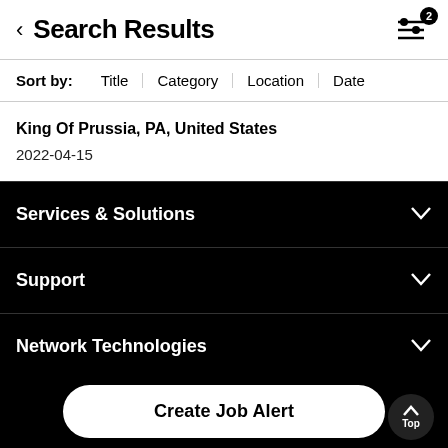Search Results
Sort by: Title | Category | Location | Date
King Of Prussia, PA, United States
2022-04-15
Services & Solutions
Support
Network Technologies
Innovation
Create Job Alert
Follow Verizon News